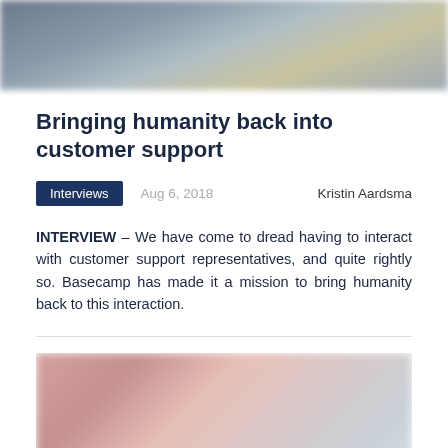[Figure (photo): Blurred photo header image at top of article page]
Bringing humanity back into customer support
Interviews   Aug 6, 2018   Kristin Aardsma
INTERVIEW – We have come to dread having to interact with customer support representatives, and quite rightly so. Basecamp has made it a mission to bring humanity back to this interaction.
[Figure (photo): Blurred photo at bottom of article page with scroll-to-top button]